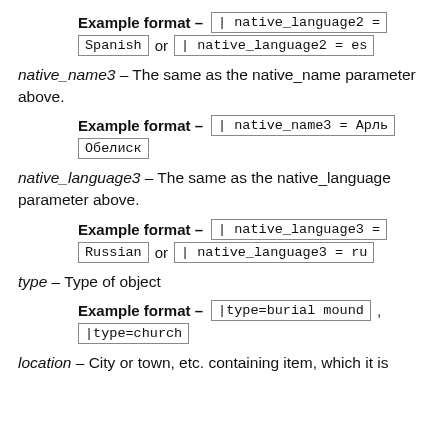Example format – | native_language2 = Spanish or | native_language2 = es
native_name3 – The same as the native_name parameter above.
Example format – | native_name3 = Арль Обелиск
native_language3 – The same as the native_language parameter above.
Example format – | native_language3 = Russian or | native_language3 = ru
type – Type of object
Example format – |type=burial mound , |type=church
location – City or town, etc. containing item, which it is